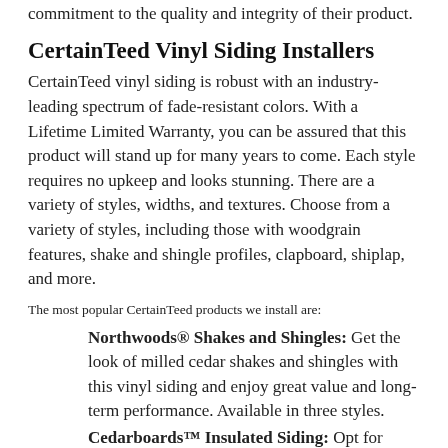commitment to the quality and integrity of their product.
CertainTeed Vinyl Siding Installers
CertainTeed vinyl siding is robust with an industry-leading spectrum of fade-resistant colors. With a Lifetime Limited Warranty, you can be assured that this product will stand up for many years to come. Each style requires no upkeep and looks stunning. There are a variety of styles, widths, and textures. Choose from a variety of styles, including those with woodgrain features, shake and shingle profiles, clapboard, shiplap, and more.
The most popular CertainTeed products we install are:
Northwoods® Shakes and Shingles: Get the look of milled cedar shakes and shingles with this vinyl siding and enjoy great value and long-term performance. Available in three styles.
Cedarboards™ Insulated Siding: Opt for authentic cedar texture with innovative foam backing for that